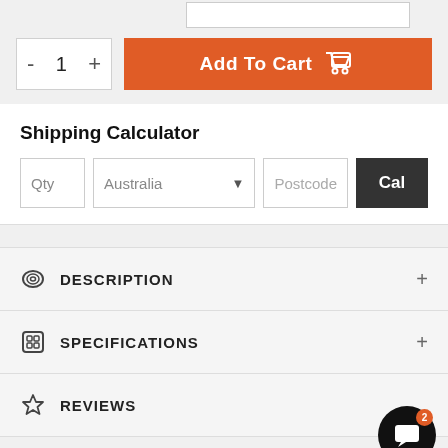[Figure (screenshot): Top partial input box (cropped at top of page)]
[Figure (screenshot): Quantity control with minus, 1, plus and orange Add To Cart button with cart icon]
Shipping Calculator
[Figure (screenshot): Shipping calculator row with Qty input, Australia dropdown, Postcode input, and Cal button]
DESCRIPTION +
SPECIFICATIONS +
REVIEWS
[Figure (other): Chat bubble icon with notification badge showing 2]